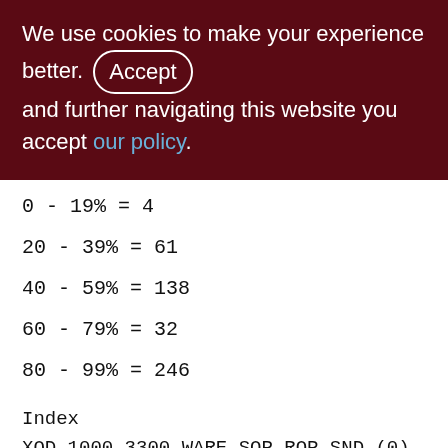We use cookies to make your experience better. By accepting and further navigating this website you accept our policy.
0 - 19% = 4
20 - 39% = 61
40 - 59% = 138
60 - 79% = 32
80 - 99% = 246
Index XQD_1000_3300_WARE_SOP_ROP_SND (0)
Root page: 216911, depth: 3, leaf buckets:
765, nodes: 549711
Average node length: 6.19, total dup:
479732, max dup: 14
Average key length: 3.32, compression